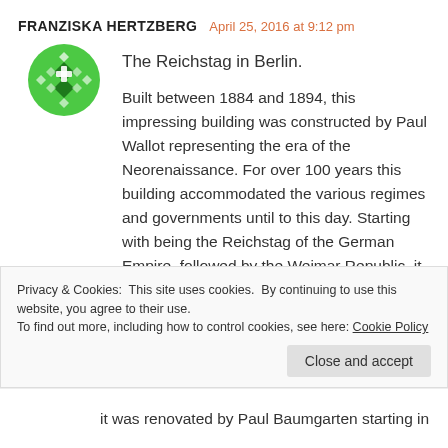FRANZISKA HERTZBERG   April 25, 2016 at 9:12 pm
The Reichstag in Berlin.
Built between 1884 and 1894, this impressing building was constructed by Paul Wallot representing the era of the Neorenaissance. For over 100 years this building accommodated the various regimes and governments until to this day. Starting with being the Reichstag of the German Empire, followed by the Weimar Republic, it was set on fire in 1933, where it got severely destroyed and was then used for the Nazi regime. During the second world war it was
Privacy & Cookies: This site uses cookies. By continuing to use this website, you agree to their use.
To find out more, including how to control cookies, see here: Cookie Policy
it was renovated by Paul Baumgarten starting in